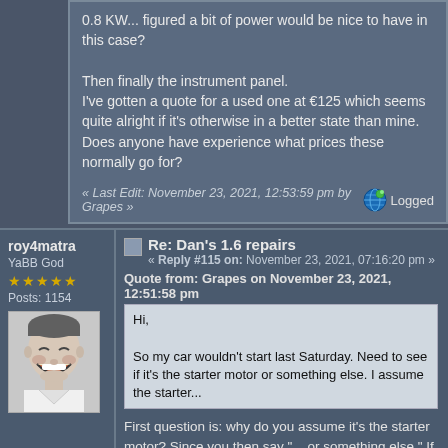0.8 KW... figured a bit of power would be nice to have in this case?

Then finally the instrument panel.
I've gotten a quote for a used one at €125 which seems quite alright if it's otherwise in a better state than mine.
Does anyone have experience what prices these normally go for?
« Last Edit: November 23, 2021, 12:53:59 pm by Grapes »
Logged
roy4matra
YaBB God
Posts: 1154
[Figure (photo): Black and white photo of a smiling middle-aged man]
Re: Dan's 1.6 repairs
« Reply #115 on: November 23, 2021, 07:16:20 pm »
Quote from: Grapes on November 23, 2021, 12:51:58 pm
Hi,

So my car wouldn't start last Saturday. Need to see if it's the starter motor or something else. I assume the starter...
First question is: why do you assume it's the starter motor?  Since you then say "... or something else."  If it is something else, it would probably have symptoms totally different to a starter motor failure.

Does the starter motor spin the engine over?  If it does, it is not the starter.  If it doesn't, it could be the ignition switch, the wiring, the solenoid, the motor, the battery or the earth